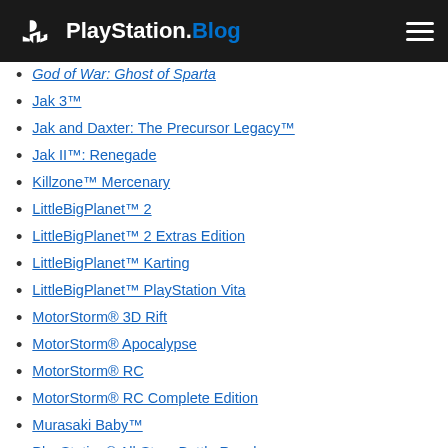PlayStation.Blog
God of War: Ghost of Sparta
Jak 3™
Jak and Daxter: The Precursor Legacy™
Jak II™: Renegade
Killzone™ Mercenary
LittleBigPlanet™ 2
LittleBigPlanet™ 2 Extras Edition
LittleBigPlanet™ Karting
LittleBigPlanet™ PlayStation Vita
MotorStorm® 3D Rift
MotorStorm® Apocalypse
MotorStorm® RC
MotorStorm® RC Complete Edition
Murasaki Baby™
PlayStation® All-Stars Battle Royale
PlayStation® All-Stars: Battle Royale (PS Vita)
Puppeteer™
Ratchet & Clank™